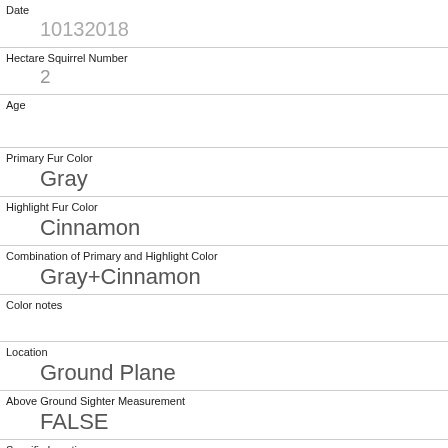| Date | 10132018 |
| Hectare Squirrel Number | 2 |
| Age |  |
| Primary Fur Color | Gray |
| Highlight Fur Color | Cinnamon |
| Combination of Primary and Highlight Color | Gray+Cinnamon |
| Color notes |  |
| Location | Ground Plane |
| Above Ground Sighter Measurement | FALSE |
| Specific Location |  |
| Running |  |